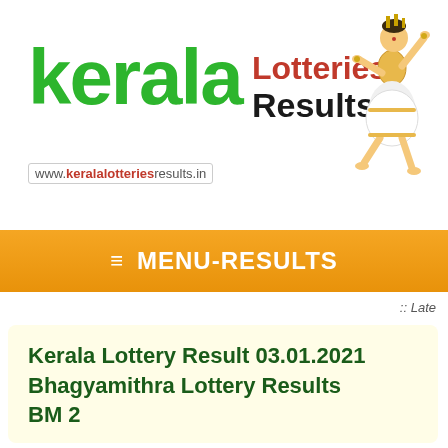[Figure (logo): Kerala Lotteries Results logo with green Kerala text, red Lotteries text, and a classical dancer figure on the right]
www.keralalotteriesresults.in
≡ MENU-RESULTS
:: Late
Kerala Lottery Result 03.01.2021 Bhagyamithra Lottery Results BM 2